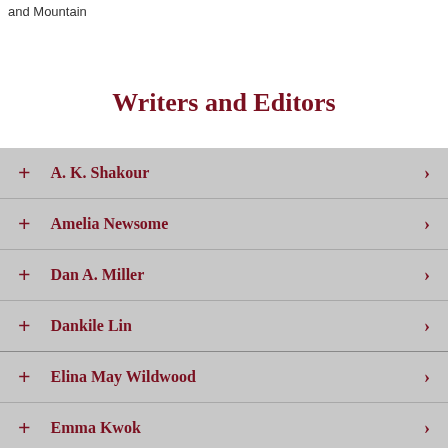and Mountain
Writers and Editors
A. K. Shakour
Amelia Newsome
Dan A. Miller
Dankile Lin
Elina May Wildwood
Emma Kwok